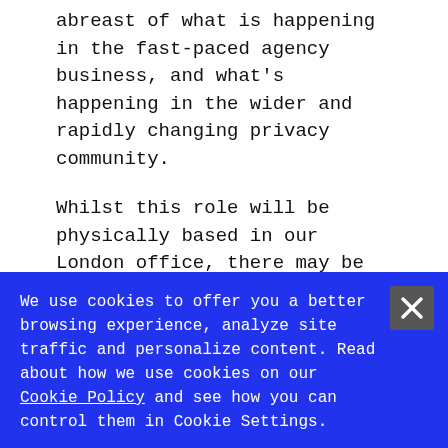abreast of what is happening in the fast-paced agency business, and what's happening in the wider and rapidly changing privacy community.
Whilst this role will be physically based in our London office, there may be some travel involved.
What you'll be doing:
You will be the initial “go to” person for any
We use cookies to offer you a better browsing experience, analyze site traffic and personalize content. Read about how we use cookies on our Cookie Policy and see how you can control them in Cookie Settings.